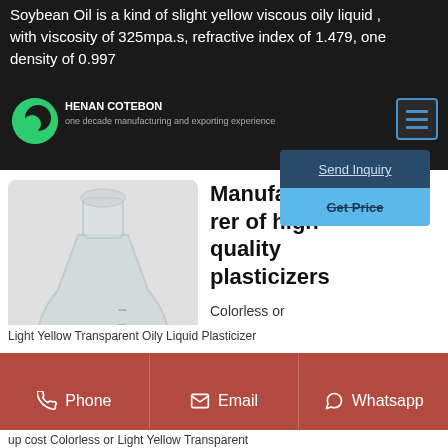Soybean Oil is a kind of slight yellow viscous oily liquid , with viscosity of 325mpa.s, refractive index of 1.479, one density of 0.997
HENAN COTEBON one decade manufacturing and exporting experience
Send Inquiry
Get Price
[Figure (photo): Erlenmeyer flask containing a clear liquid, placed on a white background]
Manufacturer of high-quality plasticizers
Colorless or Light Yellow Transparent Oily Liquid Plasticizer
up cost Colorless or Light Yellow Transparent
Phone   Email   Whatsapp